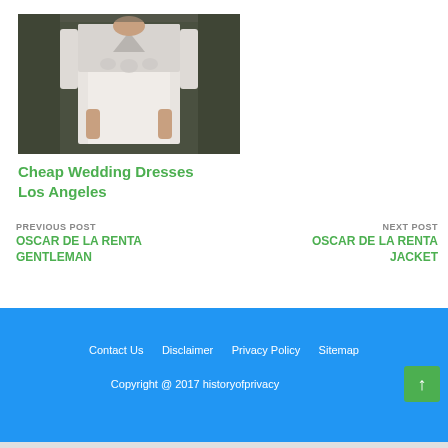[Figure (photo): Photo of a person wearing a white lace long-sleeve wedding dress, standing against a dark background]
Cheap Wedding Dresses Los Angeles
PREVIOUS POST
OSCAR DE LA RENTA GENTLEMAN
NEXT POST
OSCAR DE LA RENTA JACKET
Contact Us   Disclaimer   Privacy Policy   Sitemap   Copyright @ 2017 historyofprivacy